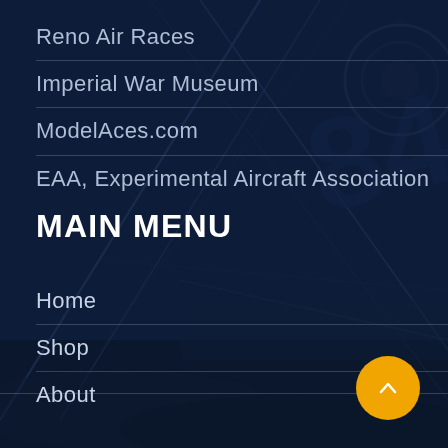Reno Air Races
Imperial War Museum
ModelAces.com
EAA, Experimental Aircraft Association
MAIN MENU
Home
Shop
About
[Figure (illustration): Dark blue-tinted background showing a vintage/warbird racing aircraft with diagonal structural wires and the number 84 visible, overlaid with semi-transparent dark navy tint. An orange circular scroll-up button is in the lower right.]